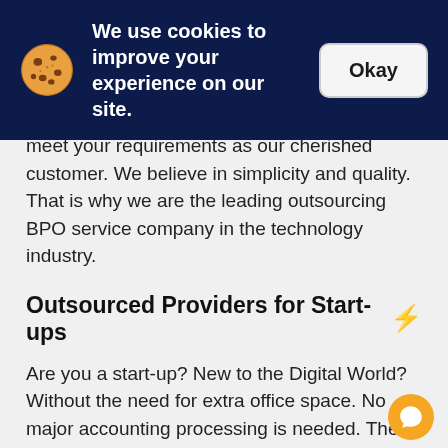[Figure (other): Cookie consent banner with dark navy background, cookie emoji icon, text 'We use cookies to improve your experience on our site.' and an 'Okay' button]
meet your requirements as our cherished customer. We believe in simplicity and quality. That is why we are the leading outsourcing BPO service company in the technology industry.
Outsourced Providers for Start-ups ⚡
Are you a start-up? New to the Digital World? Without the need for extra office space. No major accounting processing is needed. Then we are the BPO solution provider for you. We offer simple contract processing for you. We offer a great number of resources for you as an outsourced provider. With us, you will learn the know-how in management and then handle employees on your own and have an office